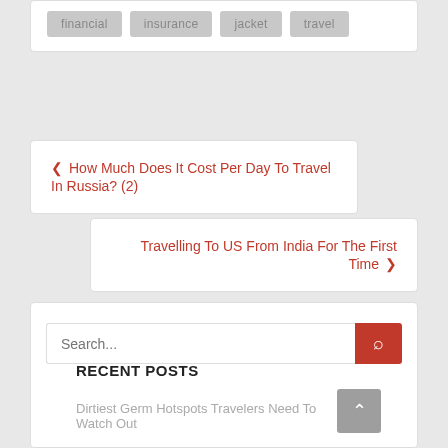financial
insurance
jacket
travel
‹ How Much Does It Cost Per Day To Travel In Russia? (2)
Travelling To US From India For The First Time ›
Search...
RECENT POSTS
Dirtiest Germ Hotspots Travelers Need To Watch Out